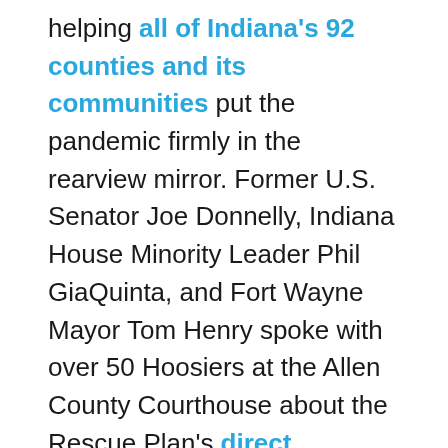helping all of Indiana's 92 counties and its communities put the pandemic firmly in the rearview mirror. Former U.S. Senator Joe Donnelly, Indiana House Minority Leader Phil GiaQuinta, and Fort Wayne Mayor Tom Henry spoke with over 50 Hoosiers at the Allen County Courthouse about the Rescue Plan's direct contribution to Fort Wayne and Allen County communities — which includes approximately $73 million for Allen County, $50 million for Fort Wayne, $3 million for New Haven, and $130 million for schools in Allen County.